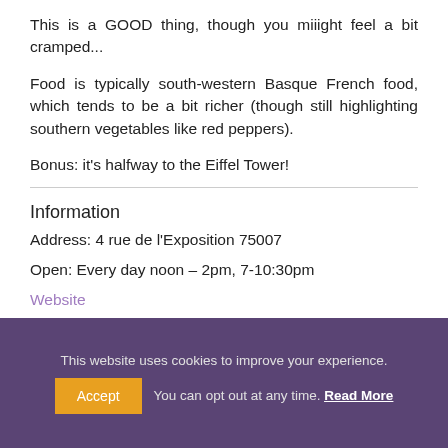This is a GOOD thing, though you miiight feel a bit cramped...
Food is typically south-western Basque French food, which tends to be a bit richer (though still highlighting southern vegetables like red peppers).
Bonus: it's halfway to the Eiffel Tower!
Information
Address: 4 rue de l'Exposition 75007
Open: Every day noon – 2pm, 7-10:30pm
Website
This website uses cookies to improve your experience. Accept You can opt out at any time. Read More